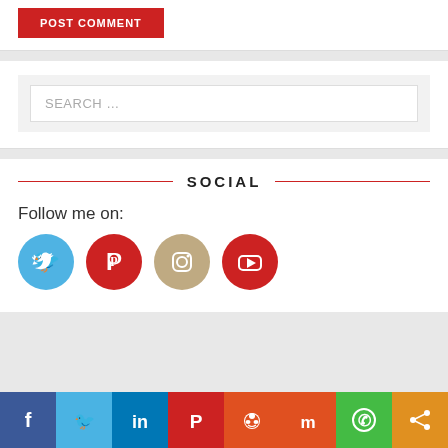[Figure (screenshot): POST COMMENT red button]
[Figure (screenshot): Search box with placeholder text SEARCH ...]
SOCIAL
Follow me on:
[Figure (infographic): Social media icons: Twitter (blue circle), Pinterest (red circle), Instagram (tan circle), YouTube (red circle)]
[Figure (infographic): Share bar at bottom with icons: Facebook, Twitter, LinkedIn, Pinterest, Reddit, Mix, WhatsApp, Share]